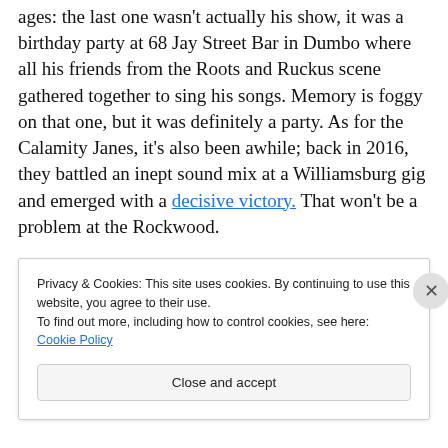ages: the last one wasn't actually his show, it was a birthday party at 68 Jay Street Bar in Dumbo where all his friends from the Roots and Ruckus scene gathered together to sing his songs. Memory is foggy on that one, but it was definitely a party. As for the Calamity Janes, it's also been awhile; back in 2016, they battled an inept sound mix at a Williamsburg gig and emerged with a decisive victory. That won't be a problem at the Rockwood.
Privacy & Cookies: This site uses cookies. By continuing to use this website, you agree to their use. To find out more, including how to control cookies, see here: Cookie Policy